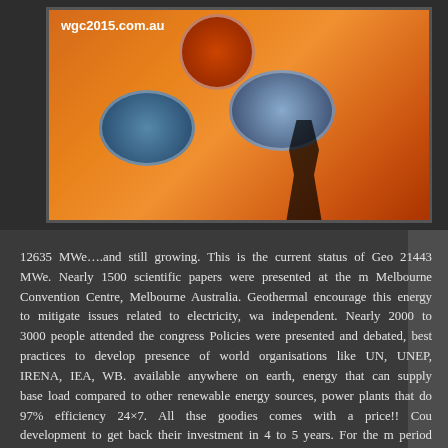[Figure (photo): Orange/warm-toned promotional banner for wgc2015.com.au (World Geothermal Congress 2015 in Melbourne, Australia) showing circular inset images of Australian landscapes and cultural elements, with a partial silhouette of a person.]
12635 MWe….and still growing. This is the current status of Geo 21443 MWe. Nearly 1500 scientific papers were presented at the m Melbourne Convention Centre, Melbourne Australia. Geothermal encourage this energy to mitigate issues related to electricity, wa independent. Nearly 2000 to 3000 people attended the congress Policies were presented and debated, best practices to develop presence of world organisations like UN, UNEP, IRENA, IEA, WB. available anywhere on earth, energy that can supply base load compared to other renewable energy sources, power plants that do 97% efficiency 24×7. All thse goodies comes with a price!! Cou development to get back their investment in 4 to 5 years. For the m period is minimum compared to any other power projects on the e